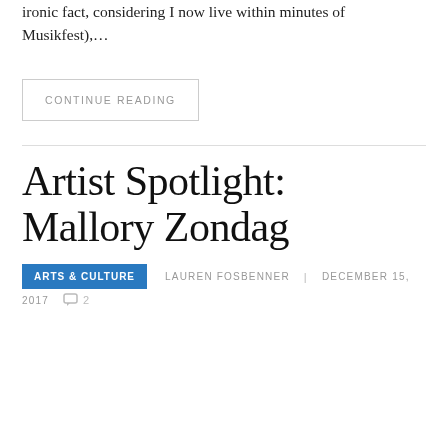ironic fact, considering I now live within minutes of Musikfest),…
CONTINUE READING
Artist Spotlight: Mallory Zondag
ARTS & CULTURE   LAUREN FOSBENNER   DECEMBER 15, 2017   2